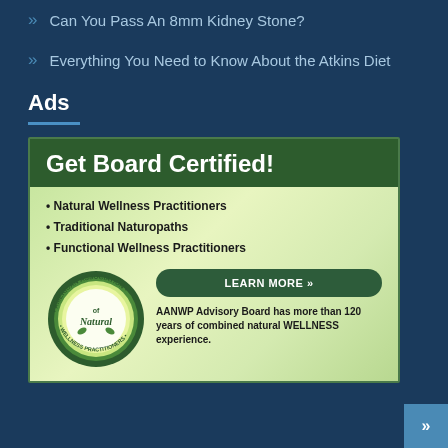Can You Pass An 8mm Kidney Stone?
Everything You Need to Know About the Atkins Diet
Ads
[Figure (illustration): Advertisement for AANWP (American Association of Natural Wellness Practitioners) board certification. Header: 'Get Board Certified!' in white on dark green. Body on green gradient background lists bullet points: Natural Wellness Practitioners, Traditional Naturopaths, Functional Wellness Practitioners. Circular badge logo for American Association of Natural Wellness Practitioners. Button: 'LEARN MORE »'. Text: 'AANWP Advisory Board has more than 120 years of combined natural WELLNESS experience.']